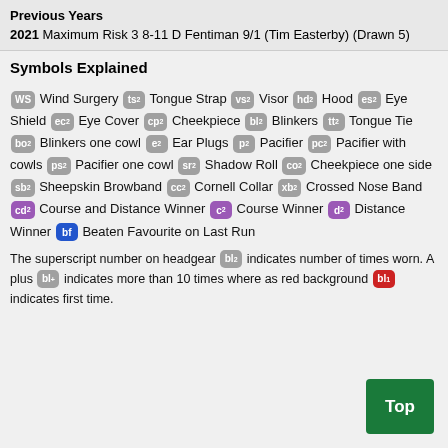Previous Years
2021 Maximum Risk 3 8-11 D Fentiman 9/1 (Tim Easterby) (Drawn 5)
Symbols Explained
WS Wind Surgery ts² Tongue Strap vs² Visor hd² Hood es² Eye Shield ec² Eye Cover cp² Cheekpiece bl² Blinkers tt² Tongue Tie bo² Blinkers one cowl e² Ear Plugs p² Pacifier pc² Pacifier with cowls ps² Pacifier one cowl sr² Shadow Roll co² Cheekpiece one side sb² Sheepskin Browband cc² Cornell Collar xb² Crossed Nose Band cd² Course and Distance Winner c² Course Winner d² Distance Winner bf Beaten Favourite on Last Run
The superscript number on headgear bl² indicates number of times worn. A plus bl+ indicates more than 10 times where as red background bl¹ indicates first time.